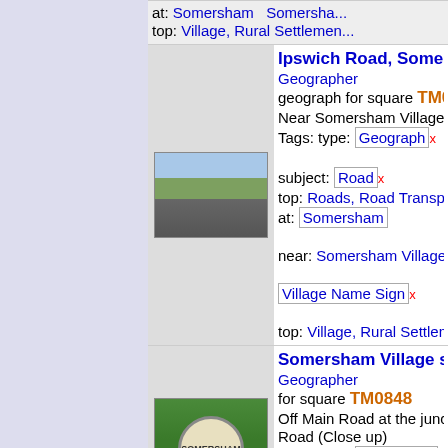[Figure (screenshot): Webpage listing of geograph images with thumbnails and metadata for locations in Somersham]
at: Somersham   Somersha...
top: Village, Rural Settlemen...
Ipswich Road, Somersh...
Geographer
geograph for square TM0...
Near Somersham Village Name...
Tags: type: Geograph x   Ips...
subject: Road x
top: Roads, Road Transport...
at: Somersham
near: Somersham Village Na...
Village Name Sign x
top: Village, Rural Settlemen...
Somersham Village sign...
Geographer
for square TM0848
Off Main Road at the junction w... Road (Close up)
Tags: type: Close Look x
off: Main Road x   Road Jun...
subject: Sign x   at: Somersh...